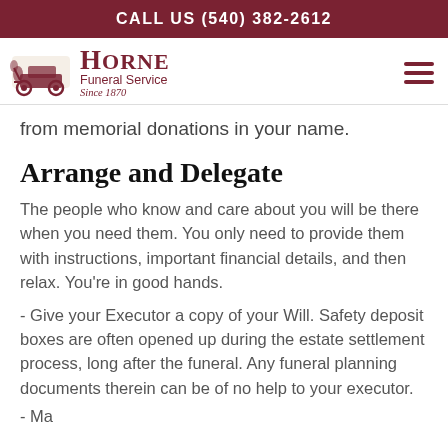CALL US (540) 382-2612
[Figure (logo): Horne Funeral Service logo with horse-drawn carriage illustration and text 'Horne Funeral Service Since 1870']
from memorial donations in your name.
Arrange and Delegate
The people who know and care about you will be there when you need them. You only need to provide them with instructions, important financial details, and then relax. You're in good hands.
- Give your Executor a copy of your Will. Safety deposit boxes are often opened up during the estate settlement process, long after the funeral. Any funeral planning documents therein can be of no help to your executor.
- Ma...